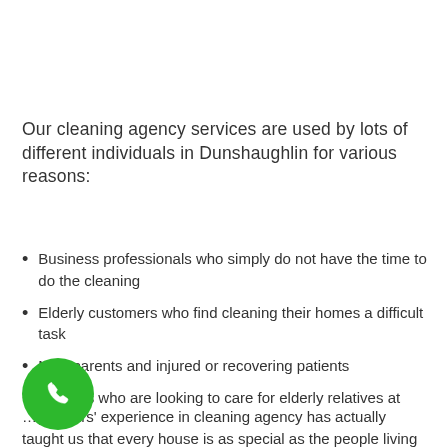Our cleaning agency services are used by lots of different individuals in Dunshaughlin for various reasons:
Business professionals who simply do not have the time to do the cleaning
Elderly customers who find cleaning their homes a difficult task
New parents and injured or recovering patients
Families who are looking to care for elderly relatives at home
…us years' experience in cleaning agency has actually taught us that every house is as special as the people living there.
[Figure (other): Green circular phone/call button icon in the bottom left corner]